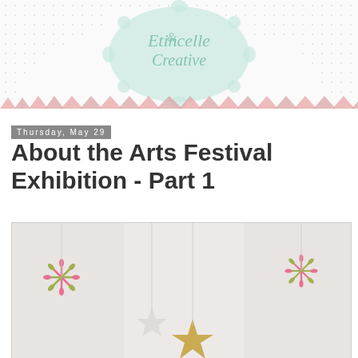[Figure (logo): Etincelle Creative logo in a mint green ornate oval frame with cursive text]
Thursday, May 29
About the Arts Festival Exhibition - Part 1
[Figure (photo): Photo showing paper star decorations hanging, including white and gold stars with pink and gold pinwheel/flower decorations on a light grey/white background]